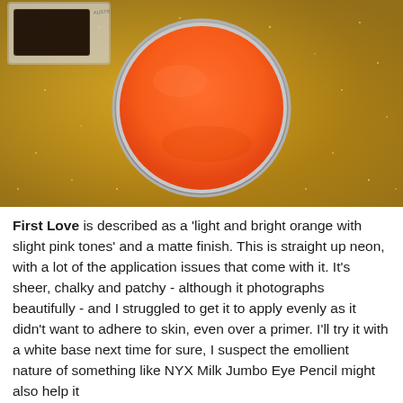[Figure (photo): Product photo of an orange matte eyeshadow pan (labeled First Love) sitting on a gold glitter surface with a clear compact container visible in the upper left corner.]
First Love is described as a 'light and bright orange with slight pink tones' and a matte finish. This is straight up neon, with a lot of the application issues that come with it. It's sheer, chalky and patchy - although it photographs beautifully - and I struggled to get it to apply evenly as it didn't want to adhere to skin, even over a primer. I'll try it with a white base next time for sure, I suspect the emollient nature of something like NYX Milk Jumbo Eye Pencil might also help it